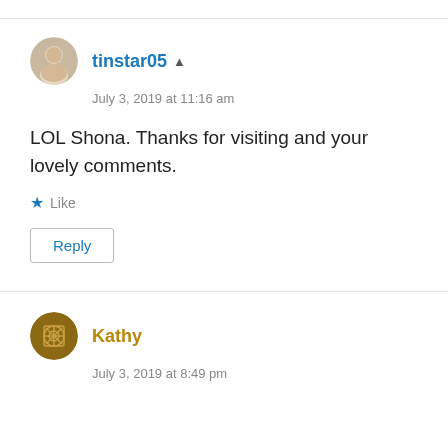tinstar05 ▲
July 3, 2019 at 11:16 am
LOL Shona. Thanks for visiting and your lovely comments.
★ Like
Reply
Kathy
July 3, 2019 at 8:49 pm